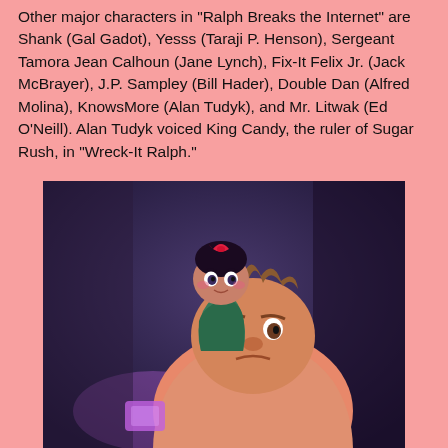Other major characters in "Ralph Breaks the Internet" are Shank (Gal Gadot), Yesss (Taraji P. Henson), Sergeant Tamora Jean Calhoun (Jane Lynch), Fix-It Felix Jr. (Jack McBrayer), J.P. Sampley (Bill Hader), Double Dan (Alfred Molina), KnowsMore (Alan Tudyk), and Mr. Litwak (Ed O'Neill). Alan Tudyk voiced King Candy, the ruler of Sugar Rush, in "Wreck-It Ralph."
[Figure (photo): Animated still from Ralph Breaks the Internet showing Vanellope (small girl with dark hair and bow, wearing teal jacket) sitting on the shoulders of Ralph (large, broad man in salmon/pink hoodie), both looking forward with expression of concern, against a dark purple/blue background.]
[Figure (infographic): Advertisement banner for BitLife mobile game. Red background with fire and facepalm emoji on left side, 'FAIL' badge in black. Right side has black background with sperm icon and 'BitLife' text in white/orange italic font, 'START A NEW LIFE' in yellow button. Close and help buttons in top right corner.]